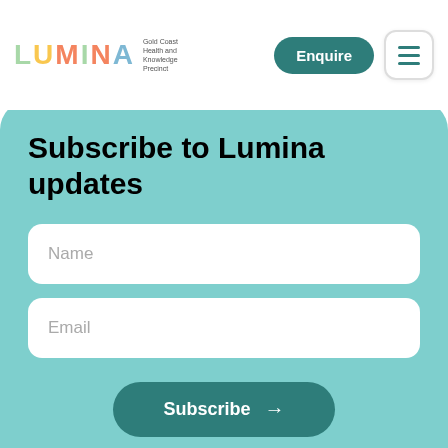[Figure (logo): Lumina Gold Coast Health and Knowledge Precinct logo with colourful letters]
Enquire
Subscribe to Lumina updates
Name
Email
Subscribe →